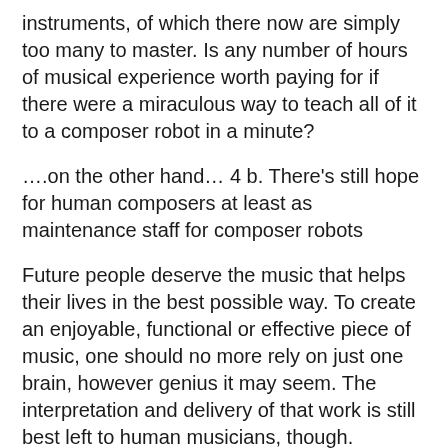instruments, of which there now are simply too many to master. Is any number of hours of musical experience worth paying for if there were a miraculous way to teach all of it to a composer robot in a minute?
….on the other hand… 4 b. There's still hope for human composers at least as maintenance staff for composer robots
Future people deserve the music that helps their lives in the best possible way. To create an enjoyable, functional or effective piece of music, one should no more rely on just one brain, however genius it may seem. The interpretation and delivery of that work is still best left to human musicians, though. Attempts at entire computer-generated compositions have thus far been either uninteresting or disturbing to hear for that reason, especially in the absence of human performers. We will